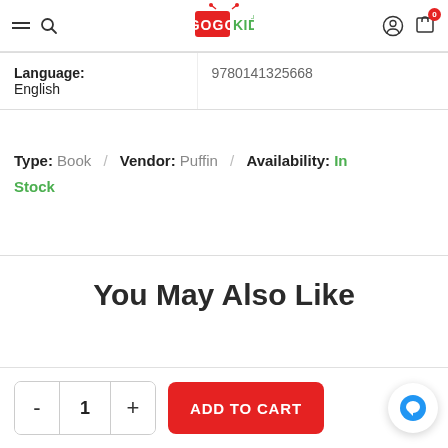GoGoKids.nz website header with hamburger menu, search icon, logo, user icon, and cart (0 items)
| Language: |  |
| --- | --- |
| Language: English | 9780141325668 |
Type: Book / Vendor: Puffin / Availability: In Stock
You May Also Like
- 1 + ADD TO CART